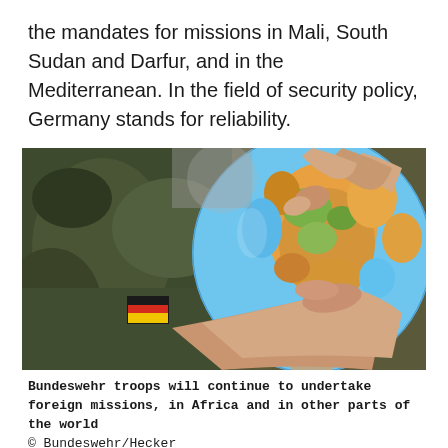the mandates for missions in Mali, South Sudan and Darfur, and in the Mediterranean. In the field of security policy, Germany stands for reliability.
[Figure (photo): Two people pointing at a globe showing Africa. One person wears a German Bundeswehr military camouflage uniform with a German flag patch on the sleeve.]
Bundeswehr troops will continue to undertake foreign missions, in Africa and in other parts of the world © Bundeswehr/Hecker